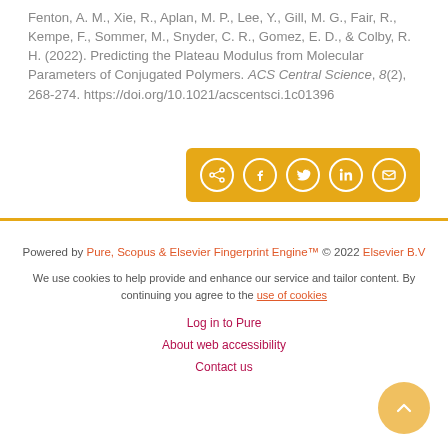Fenton, A. M., Xie, R., Aplan, M. P., Lee, Y., Gill, M. G., Fair, R., Kempe, F., Sommer, M., Snyder, C. R., Gomez, E. D., & Colby, R. H. (2022). Predicting the Plateau Modulus from Molecular Parameters of Conjugated Polymers. ACS Central Science, 8(2), 268-274. https://doi.org/10.1021/acscentsci.1c01396
[Figure (other): Share button bar with icons for share, Facebook, Twitter, LinkedIn, and email on an orange/yellow background]
Powered by Pure, Scopus & Elsevier Fingerprint Engine™ © 2022 Elsevier B.V
We use cookies to help provide and enhance our service and tailor content. By continuing you agree to the use of cookies
Log in to Pure
About web accessibility
Contact us